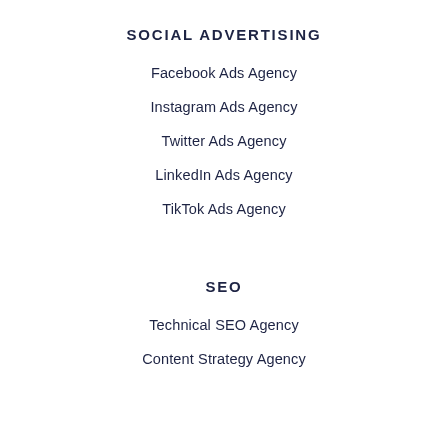SOCIAL ADVERTISING
Facebook Ads Agency
Instagram Ads Agency
Twitter Ads Agency
LinkedIn Ads Agency
TikTok Ads Agency
SEO
Technical SEO Agency
Content Strategy Agency